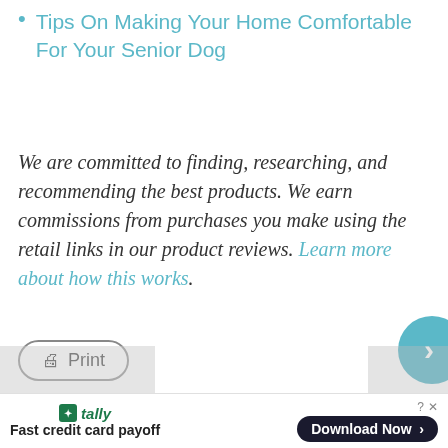Tips On Making Your Home Comfortable For Your Senior Dog
We are committed to finding, researching, and recommending the best products. We earn commissions from purchases you make using the retail links in our product reviews. Learn more about how this works.
[Figure (other): Print button with printer icon and rounded border]
Top Articles
[Figure (other): Tally advertisement bar: Fast credit card payoff, Download Now button]